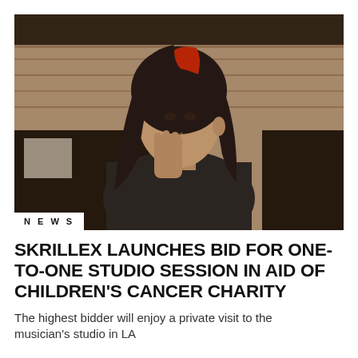[Figure (photo): Young man with long dark hair and a red/shaved section on top, wearing a black t-shirt, holding his hand near his face, standing in front of a wood-paneled wall with dark framed panels]
NEWS
SKRILLEX LAUNCHES BID FOR ONE-TO-ONE STUDIO SESSION IN AID OF CHILDREN'S CANCER CHARITY
The highest bidder will enjoy a private visit to the musician's studio in LA